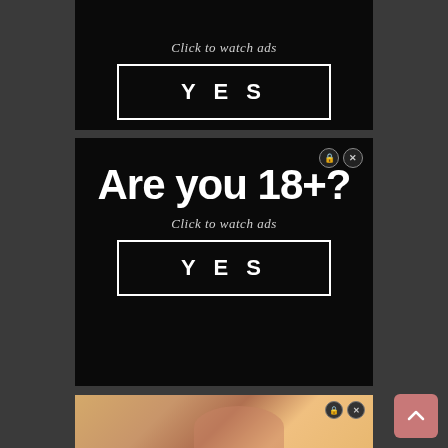[Figure (screenshot): Top portion of a black ad panel showing 'Click to watch ads' text and a YES button with white border on black background]
[Figure (screenshot): Black advertisement panel with 'Are you 18+?' in large bold white text, 'Click to watch ads' subtitle, and YES button with white border. Close icons in top right.]
[Figure (photo): Partially visible photo of a blonde woman looking upward, with close icons in top right corner]
[Figure (screenshot): Pink/salmon scroll-to-top button with upward arrow chevron in bottom right corner]